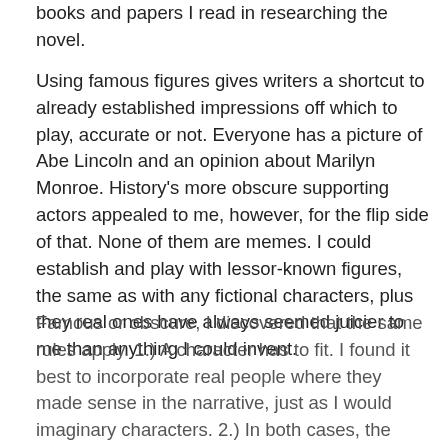books and papers I read in researching the novel.
Using famous figures gives writers a shortcut to already established impressions off which to play, accurate or not. Everyone has a picture of Abe Lincoln and an opinion about Marilyn Monroe. History's more obscure supporting actors appealed to me, however, for the flip side of that. None of them are memes. I could establish and play with lessor-known figures, the same as with any fictional characters, plus they real ones have always seemed juicier to me than anything I could invent.
Famous or obscure, I discovered that the same rules apply. 1.) A character has to fit. I found it best to incorporate real people where they made sense in the narrative, just as I would imaginary characters. 2.) In both cases, the context has to be as authentic to the late sixteenth-century story as the characters to give the reader a sense of what it's like for a protagonist living in those times. Researching those settings...